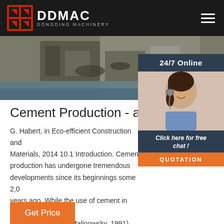DDMAC DONGDING MACHINERY
[Figure (photo): Industrial machinery/cement production equipment photo]
[Figure (photo): 24/7 Online support panel with customer service representative wearing headset. Includes 'Click here for free chat!' text and QUOTATION button.]
Cement Production - an ove
G. Habert, in Eco-efficient Construction and Materials, 2014 10.1 Introduction. Cement production has undergone tremendous developments since its beginnings some 2,0 years ago. While the use of cement in conc a very long history (Malinowsky, 1991), the industrial production of cements started in the middle of the 19 th century, first with shaft kilns, which …
Get Price